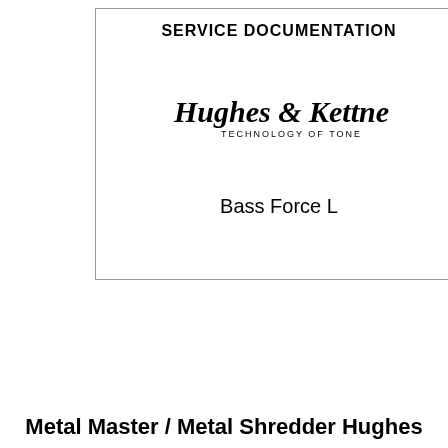SERVICE DOCUMENTATION
[Figure (logo): Hughes & Kettner – Technology of Tone handwritten-style logo]
Bass Force L
Metal Master / Metal Shredder Hughes